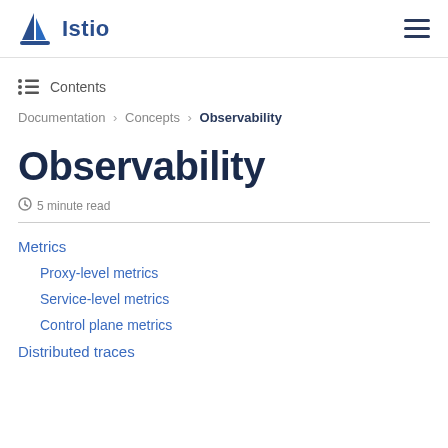Istio
Contents
Documentation > Concepts > Observability
Observability
5 minute read
Metrics
Proxy-level metrics
Service-level metrics
Control plane metrics
Distributed traces